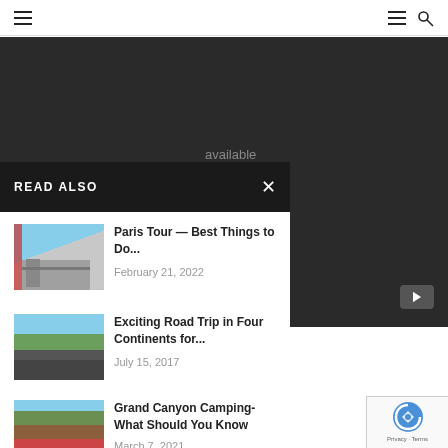Navigation bar with hamburger menu and search icon
[Figure (screenshot): Dark video player area showing 'unavailable' message with YouTube icon]
READ ALSO
Paris Tour — Best Things to Do... February 21, 2022
Exciting Road Trip in Four Continents for... July 15, 2017
Grand Canyon Camping- What Should You Know March 7, 2021
our mobile, you won't be able of the Fire Fall.
p, view it on a 'full screen